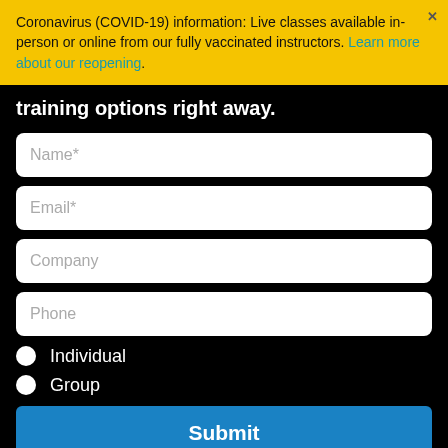Coronavirus (COVID-19) information: Live classes available in-person or online from our fully vaccinated instructors. Learn more about our reopening.
training options right away.
Name*
Email*
Company
Phone
Individual
Group
Submit